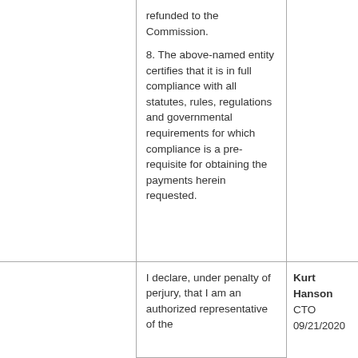|  | refunded to the Commission.
8. The above-named entity certifies that it is in full compliance with all statutes, rules, regulations and governmental requirements for which compliance is a pre-requisite for obtaining the payments herein requested. |  |
|  | I declare, under penalty of perjury, that I am an authorized representative of the | Kurt Hanson
CTO
09/21/2020 |